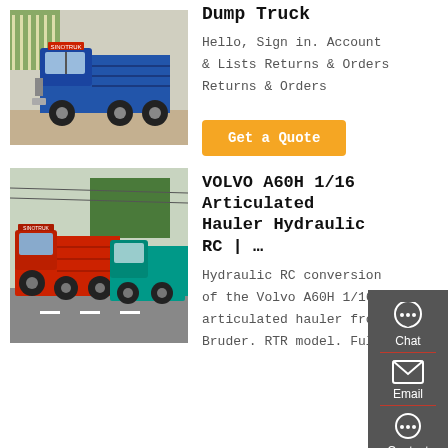[Figure (photo): Blue dump truck front view photo]
Dump Truck
Hello, Sign in. Account & Lists Returns & Orders Returns & Orders
[Figure (other): Get a Quote orange button]
[Figure (photo): Red articulated hauler dump trucks on road]
VOLVO A60H 1/16 Articulated Hauler Hydraulic RC | …
Hydraulic RC conversion of the Volvo A60H 1/16 articulated hauler from Bruder. RTR model. Full
[Figure (infographic): Sidebar with Chat, Email, Contact, Top navigation icons]